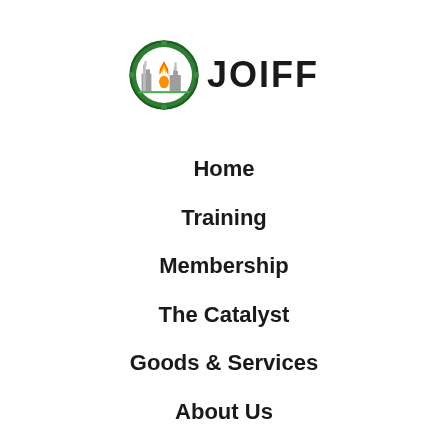[Figure (logo): JOIFF logo: circular green badge with industrial buildings and orange flame, next to bold text 'JOIFF']
Home
Training
Membership
The Catalyst
Goods & Services
About Us
News
Contact Us